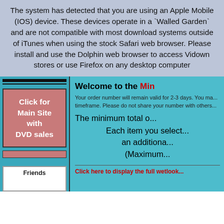The system has detected that you are using an Apple Mobile (IOS) device. These devices operate in a `Walled Garden` and are not compatible with most download systems outside of iTunes when using the stock Safari web browser. Please install and use the Dolphin web browser to access Vidown stores or use Firefox on any desktop computer
Click for Main Site with DVD sales
Welcome to the Min...
Your order number will remain valid for 2-3 days. You ma... timeframe. Please do not share your number with others...
The minimum total o...
Each item you select... an additiona... (Maximum...
Click here to display the full wetlook...
Friends